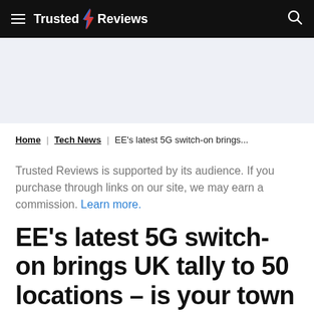Trusted Reviews
Home | Tech News | EE's latest 5G switch-on brings...
Trusted Reviews is supported by its audience. If you purchase through links on our site, we may earn a commission. Learn more.
EE's latest 5G switch-on brings UK tally to 50 locations – is your town among them?